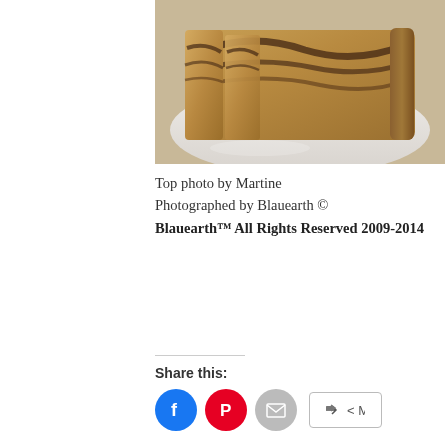[Figure (photo): Sliced chocolate marbled banana bread loaf on a white plate, photographed from above at an angle]
Top photo by Martine
Photographed by Blauearth ©
Bluaearth™ All Rights Reserved 2009-2014
Share this: